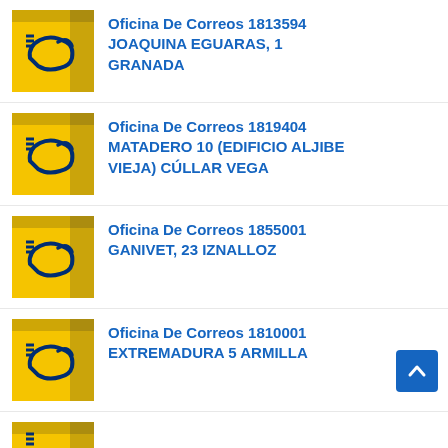Oficina De Correos 1813594 JOAQUINA EGUARAS, 1 GRANADA
Oficina De Correos 1819404 MATADERO 10 (EDIFICIO ALJIBE VIEJA) CÚLLAR VEGA
Oficina De Correos 1855001 GANIVET, 23 IZNALLOZ
Oficina De Correos 1810001 EXTREMADURA 5 ARMILLA
(partial entry visible)